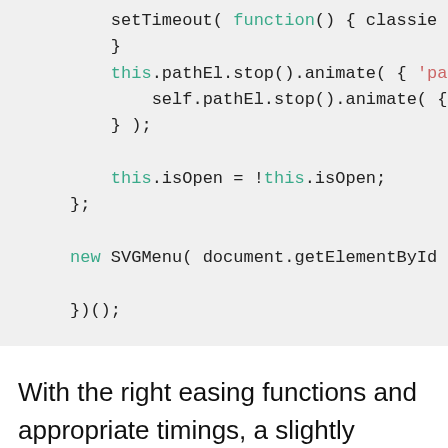[Figure (screenshot): Code block showing JavaScript with syntax highlighting: setTimeout function call, this.pathEl.stop().animate, self.pathEl.stop().animate, this.isOpen = !this.isOpen, new SVGMenu(document.getElementById...), })();]
With the right easing functions and appropriate timings, a slightly bouncy, organic movement can be created. But the options